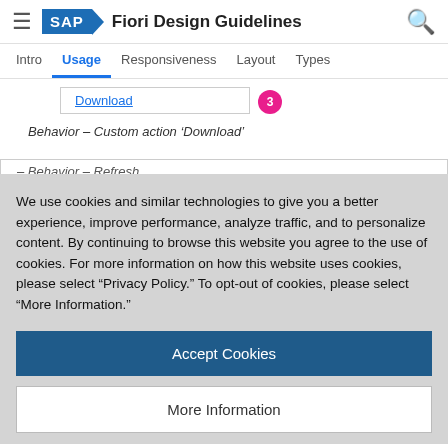SAP Fiori Design Guidelines
Intro | Usage | Responsiveness | Layout | Types
[Figure (screenshot): Download action item with a link labeled 'Download' and a pink badge with number 3]
Behavior – Custom action 'Download'
Refresh
We use cookies and similar technologies to give you a better experience, improve performance, analyze traffic, and to personalize content. By continuing to browse this website you agree to the use of cookies. For more information on how this website uses cookies, please select "Privacy Policy." To opt-out of cookies, please select "More Information."
Accept Cookies
More Information
Privacy Policy | Powered by: TrustArc